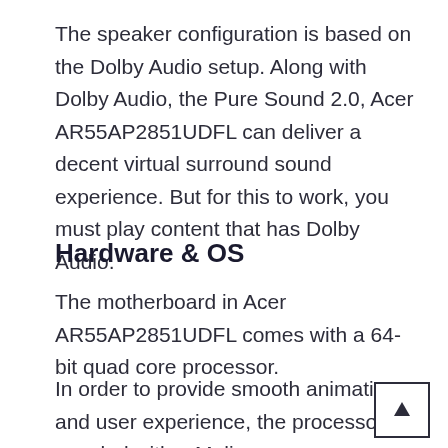The speaker configuration is based on the Dolby Audio setup. Along with Dolby Audio, the Pure Sound 2.0, Acer AR55AP2851UDFL can deliver a decent virtual surround sound experience. But for this to work, you must play content that has Dolby Audio.
Hardware & OS
The motherboard in Acer AR55AP2851UDFL comes with a 64-bit quad core processor.
In order to provide smooth animations and user experience, the processor is coupled with a Mali GPU. From this processor, you need 4GB of Ram. Ratio...